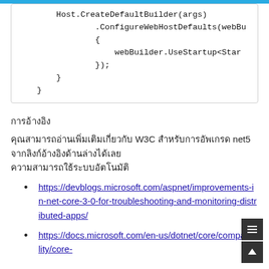[Figure (screenshot): Code block showing partial C# code with Host.CreateDefaultBuilder(args), .ConfigureWebHostDefaults(webBu..., {, webBuilder.UseStartup<Start..., });, }, }]
การอ้างอิง
คุณสามารถอ่านเพิ่มเติมเกี่ยวกับ W3C สำหรับการอัพเกรด net5 จากลิงก์อ้างอิงด้านล่างได้เลย
https://devblogs.microsoft.com/aspnet/improvements-in-net-core-3-0-for-troubleshooting-and-monitoring-distributed-apps/
https://docs.microsoft.com/en-us/dotnet/core/compatibility/core-...